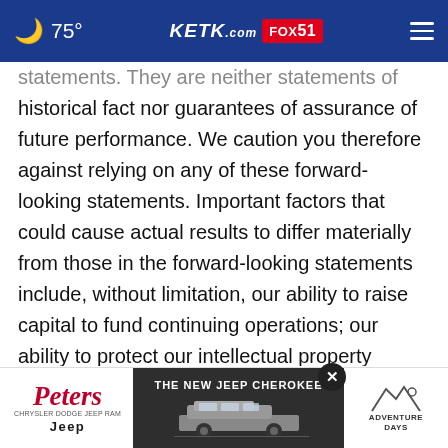75° KETK.com FOX51
statements. They are neither statements of historical fact nor guarantees of assurance of future performance. We caution you therefore against relying on any of these forward-looking statements. Important factors that could cause actual results to differ materially from those in the forward-looking statements include, without limitation, our ability to raise capital to fund continuing operations; our ability to protect our intellectual property rights; the impact ... r litigation brought against us; competition from
[Figure (other): Advertisement banner for Peters Jeep dealership featuring 'The New Jeep Cherokee' with Adventure Days branding]